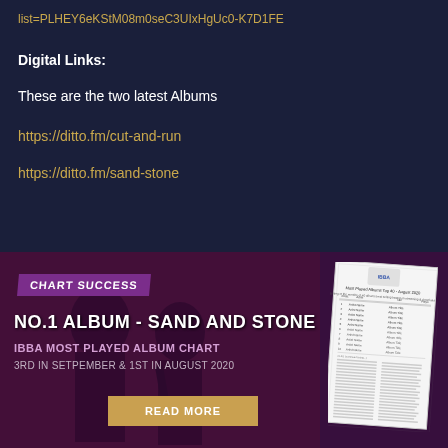list=PLHEY6eKStM08m0seC3UIxHgUc0-K7D1FE
Digital Links:
These are the two latest Albums
https://ditto.fm/cut-and-run
https://ditto.fm/sand-stone
[Figure (infographic): Chart success banner showing: CHART SUCCESS badge, NO.1 ALBUM - SAND AND STONE, IBBA MOST PLAYED ALBUM CHART, 3RD IN SETPEMBER & 1ST IN AUGUST 2020, READ MORE button, and a chart list document image on the right.]